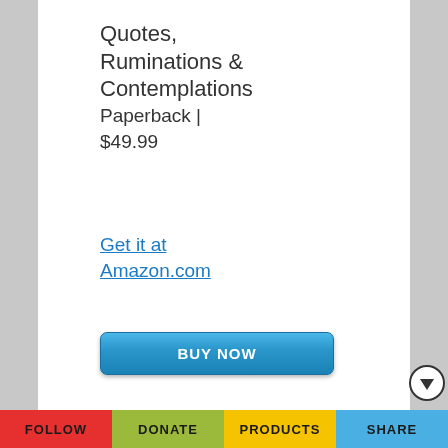Quotes, Ruminations & Contemplations Paperback | $49.99
Get it at Amazon.com
BUY NOW
Quotes, Ruminations & Contemplations Hardcover | $99.99
Get it at Amazon.com
BUY NOW
*Amazon and the Amazon logo are trademarks of
FOLLOW   DONATE   PRODUCTS   SHARE